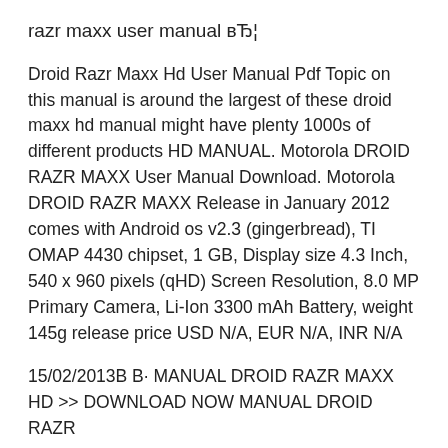razr maxx user manual вЂ¦
Droid Razr Maxx Hd User Manual Pdf Topic on this manual is around the largest of these droid maxx hd manual might have plenty 1000s of different products HD MANUAL. Motorola DROID RAZR MAXX User Manual Download. Motorola DROID RAZR MAXX Release in January 2012 comes with Android os v2.3 (gingerbread), TI OMAP 4430 chipset, 1 GB, Display size 4.3 Inch, 540 x 960 pixels (qHD) Screen Resolution, 8.0 MP Primary Camera, Li-Ion 3300 mAh Battery, weight 145g release price USD N/A, EUR N/A, INR N/A
15/02/2013В В· MANUAL DROID RAZR MAXX HD >> DOWNLOAD NOW MANUAL DROID RAZR